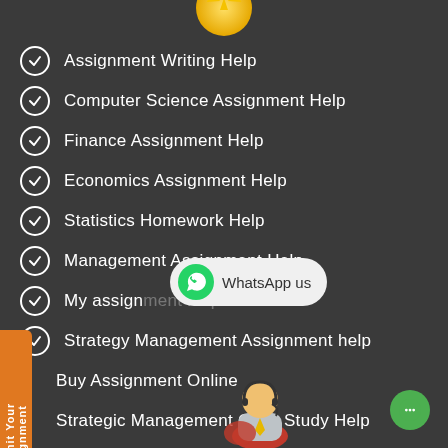[Figure (illustration): Gold star/badge partially visible at top center]
Assignment Writing Help
Computer Science Assignment Help
Finance Assignment Help
Economics Assignment Help
Statistics Homework Help
Management Assignment Help
My assignment help
Strategy Management Assignment help
Buy Assignment Online
Strategic Management Case Study Help
[Figure (illustration): WhatsApp button overlay with green phone icon and 'WhatsApp us' text]
[Figure (illustration): Customer support figure with headset at bottom center]
[Figure (illustration): Orange vertical side tab with text 'Submit Your Assignment']
[Figure (illustration): Green chat bubble icon at bottom right]